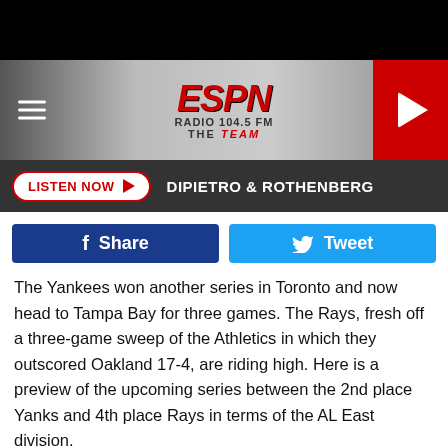[Figure (logo): ESPN Radio 104.5 FM The Team logo with navigation hamburger menu and play button]
LISTEN NOW ▶  DIPIETRO & ROTHENBERG
[Figure (infographic): Facebook Share button and Twitter Tweet button]
The Yankees won another series in Toronto and now head to Tampa Bay for three games. The Rays, fresh off a three-game sweep of the Athletics in which they outscored Oakland 17-4, are riding high.  Here is a preview of the upcoming series between the 2nd place Yanks and 4th place Rays in terms of the AL East division.
The Yankees have scored runs with small ball and long ball over the last three series and have won a variety of different ways.  The Rays are built on pitching and the timely hit.  Their